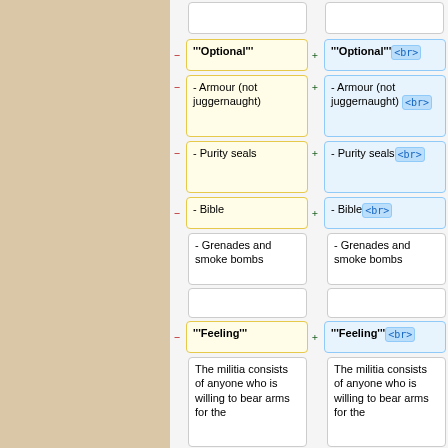[Figure (screenshot): A wiki diff view showing two columns (before/after) with highlighted changes. Left background is a tan/linen texture. Right side shows diff rows for: Optional, Armour (not juggernaught), Purity seals, Bible, Grenades and smoke bombs, Feeling, and militia body text. Yellow cells are 'before', blue cells are 'after'. After cells have <br> tags added.]